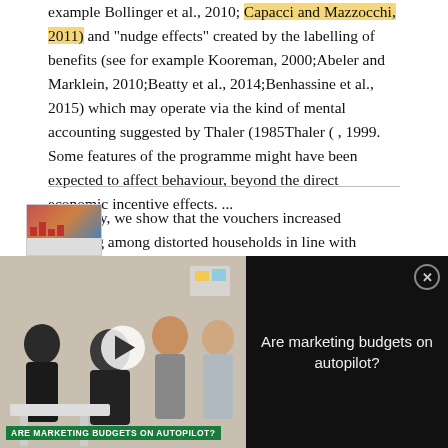example Bollinger et al., 2010; Capacci and Mazzocchi, 2011) and "nudge effects" created by the labelling of benefits (see for example Kooreman, 2000;Abeler and Marklein, 2010;Beatty et al., 2014;Benhassine et al., 2015) which may operate via the kind of mental accounting suggested by Thaler (1985Thaler ( , 1999. Some features of the programme might have been expected to affect behaviour, beyond the direct economic incentive effects. ...
... Finally, we show that the vouchers increased spending among distorted households in line with standard economic incentive effects, not behavioural mechanisms. This is in line with the studies on the effects of...
[Figure (screenshot): Video advertisement overlay showing a group of people in an office setting with text 'Are marketing budgets on autopilot?' and a play button over the video thumbnail. A close button (x) appears in the top right of the dark text panel.]